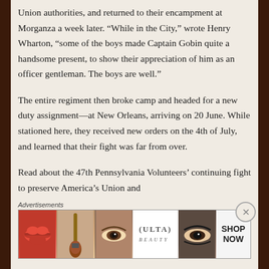Union authorities, and returned to their encampment at Morganza a week later. “While in the City,” wrote Henry Wharton, “some of the boys made Captain Gobin quite a handsome present, to show their appreciation of him as an officer gentleman. The boys are well.”
The entire regiment then broke camp and headed for a new duty assignment—at New Orleans, arriving on 20 June. While stationed here, they received new orders on the 4th of July, and learned that their fight was far from over.
Read about the 47th Pennsylvania Volunteers’ continuing fight to preserve America’s Union and
Advertisements
[Figure (photo): Ulta Beauty advertisement banner showing close-up photos of lips with lipstick, a makeup brush, an eye with eyeshadow, the Ulta Beauty logo, another eye with dramatic makeup, and a 'SHOP NOW' call to action.]